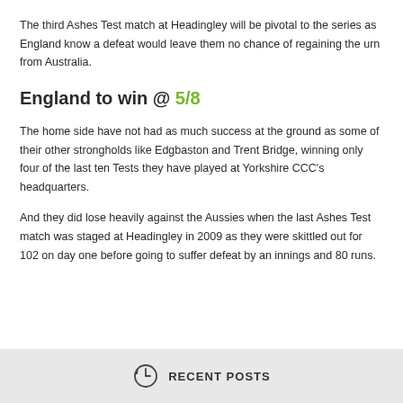The third Ashes Test match at Headingley will be pivotal to the series as England know a defeat would leave them no chance of regaining the urn from Australia.
England to win @ 5/8
The home side have not had as much success at the ground as some of their other strongholds like Edgbaston and Trent Bridge, winning only four of the last ten Tests they have played at Yorkshire CCC's headquarters.
And they did lose heavily against the Aussies when the last Ashes Test match was staged at Headingley in 2009 as they were skittled out for 102 on day one before going to suffer defeat by an innings and 80 runs.
RECENT POSTS